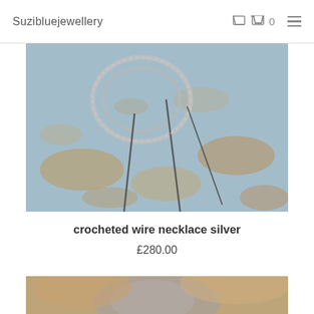Suzibluejewellery
[Figure (photo): A crocheted silver wire necklace photographed on a weathered blue painted wooden surface with rust/aged paint peeling through.]
crocheted wire necklace silver
£280.00
[Figure (photo): Bottom portion of another jewellery product image, blurred, showing warm brown and grey tones.]